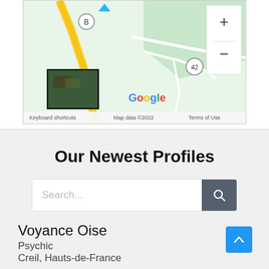[Figure (screenshot): Google Maps view showing a road map with green areas, a road labeled 8, a route marker 42, a satellite thumbnail inset, and map controls (+ and - zoom buttons). Bottom bar shows 'Keyboard shortcuts | Map data ©2022 | Terms of Use'.]
Our Newest Profiles
Search...
Voyance Oise
Psychic
Creil, Hauts-de-France